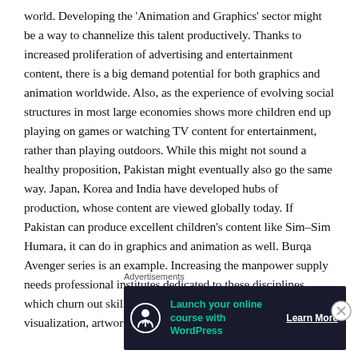world. Developing the 'Animation and Graphics' sector might be a way to channelize this talent productively. Thanks to increased proliferation of advertising and entertainment content, there is a big demand potential for both graphics and animation worldwide. Also, as the experience of evolving social structures in most large economies shows more children end up playing on games or watching TV content for entertainment, rather than playing outdoors. While this might not sound a healthy proposition, Pakistan might eventually also go the same way. Japan, Korea and India have developed hubs of production, whose content are viewed globally today. If Pakistan can produce excellent children's content like Sim–Sim Humara, it can do in graphics and animation as well. Burqa Avenger series is an example. Increasing the manpower supply needs professional institutes dedicated to these disciplines, which churn out skilled professionals in designing, visualization, artwork, character
Advertisements
[Figure (infographic): Advertisement banner: dark navy background with a circular tree/person icon, green text 'Launch your online course with WordPress', and a white underlined 'Learn More' button]